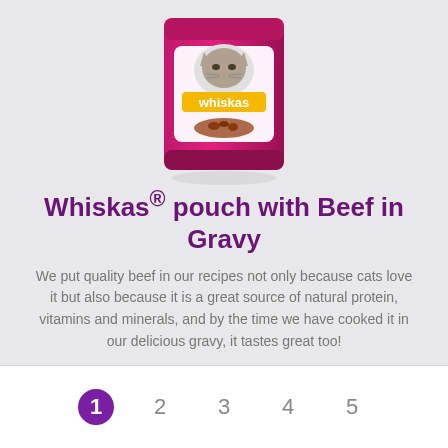[Figure (illustration): Whiskas brand cat food pouch product image - pink/magenta pouch with cat graphic and 'whiskas' logo, showing wet cat food]
Whiskas® pouch with Beef in Gravy
We put quality beef in our recipes not only because cats love it but also because it is a great source of natural protein, vitamins and minerals, and by the time we have cooked it in our delicious gravy, it tastes great too!
More details >
1 2 3 4 5